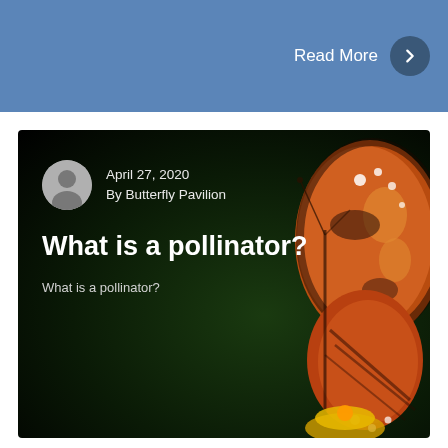Read More
[Figure (screenshot): Blog post card with butterfly image background. Shows date April 27, 2020, author Butterfly Pavilion, title What is a pollinator?, and excerpt text What is a pollinator?]